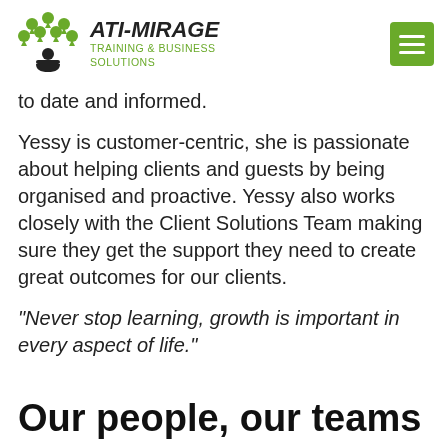ATI-MIRAGE TRAINING & BUSINESS SOLUTIONS
to date and informed.
Yessy is customer-centric, she is passionate about helping clients and guests by being organised and proactive. Yessy also works closely with the Client Solutions Team making sure they get the support they need to create great outcomes for our clients.
"Never stop learning, growth is important in every aspect of life."
Our people, our teams